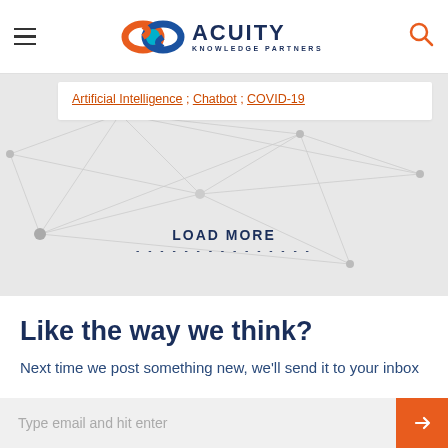Acuity Knowledge Partners
Artificial Intelligence ; Chatbot ; COVID-19
LOAD MORE
Like the way we think?
Next time we post something new, we'll send it to your inbox
Type email and hit enter